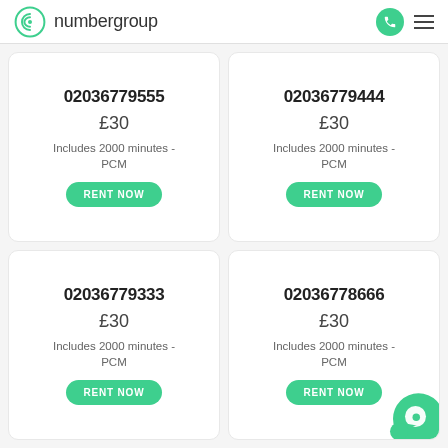numbergroup
02036779555
£30
Includes 2000 minutes - PCM
02036779444
£30
Includes 2000 minutes - PCM
02036779333
£30
Includes 2000 minutes - PCM
02036778666
£30
Includes 2000 minutes - PCM